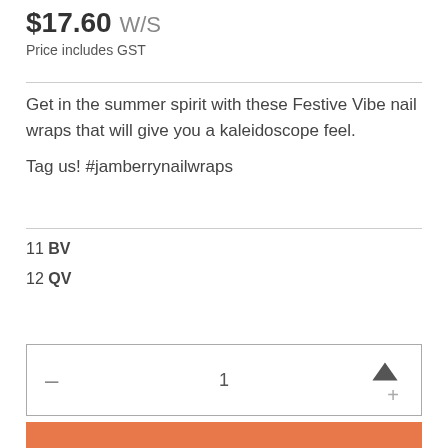$17.60 W/S
Price includes GST
Get in the summer spirit with these Festive Vibe nail wraps that will give you a kaleidoscope feel.

Tag us! #jamberrynailwraps
11 BV
12 QV
[Figure (other): Quantity selector widget with minus button, number 1, up arrow icon, and plus button inside a bordered box]
[Figure (other): Orange add to cart button at bottom of page]